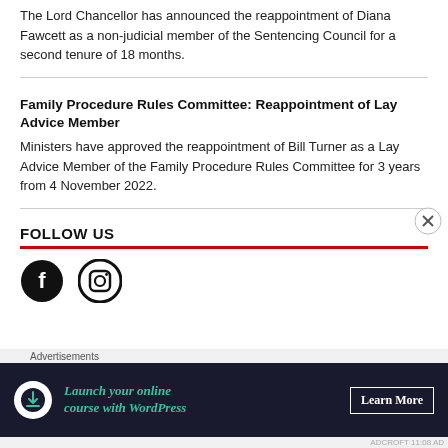The Lord Chancellor has announced the reappointment of Diana Fawcett as a non-judicial member of the Sentencing Council for a second tenure of 18 months.
Family Procedure Rules Committee: Reappointment of Lay Advice Member
Ministers have approved the reappointment of Bill Turner as a Lay Advice Member of the Family Procedure Rules Committee for 3 years from 4 November 2022.
FOLLOW US
[Figure (other): Social media icons: Facebook and Instagram circular icons]
[Figure (other): Advertisement banner: Launch your online course with WordPress - Learn More]